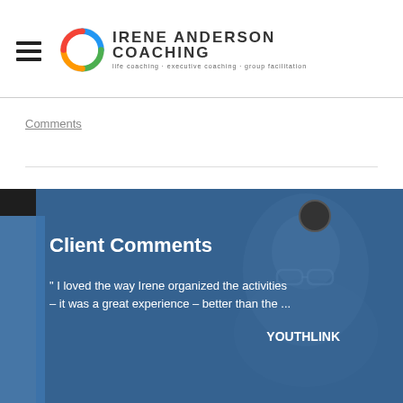[Figure (logo): Irene Anderson Coaching logo with colorful circular icon and text]
Comments
[Figure (photo): Client Comments banner with a woman's photo in the background, blue overlay, circle icon, bold heading 'Client Comments', quote text 'I loved the way Irene organized the activities – it was a great experience – better than the ...', and attribution 'YOUTHLINK']